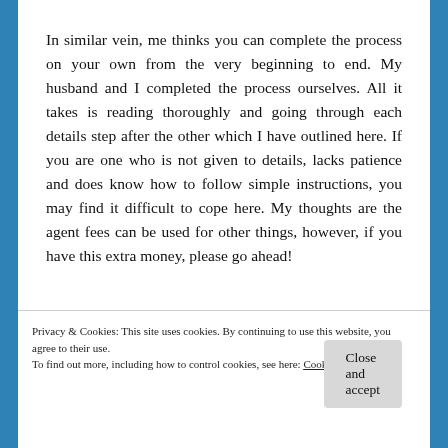In similar vein, me thinks you can complete the process on your own from the very beginning to end. My husband and I completed the process ourselves. All it takes is reading thoroughly and going through each details step after the other which I have outlined here. If you are one who is not given to details, lacks patience and does know how to follow simple instructions, you may find it difficult to cope here. My thoughts are the agent fees can be used for other things, however, if you have this extra money, please go ahead!
[Figure (photo): Photo strip partially visible behind cookie overlay]
Privacy & Cookies: This site uses cookies. By continuing to use this website, you agree to their use.
To find out more, including how to control cookies, see here: Cookie Policy
Close and accept